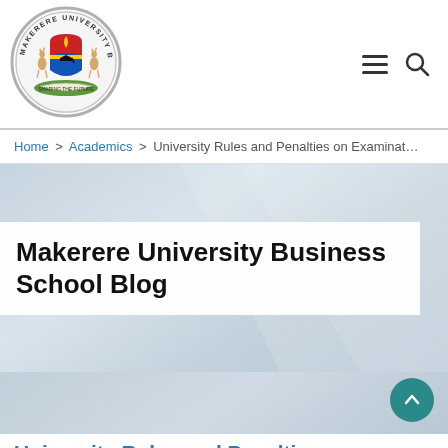[Figure (logo): Makerere University Business School circular logo/crest with two antelopes, shield with flame and mortarboard, text around border reading MAKERERE UNIVERSITY BUSINESS SCHOOL]
Home > Academics > University Rules and Penalties on Examinat…
Makerere University Business School Blog
University Rules and Penalti…